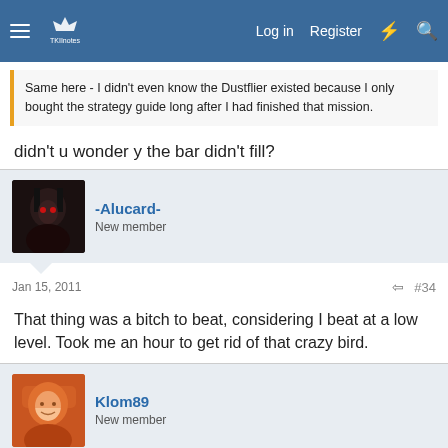TKIInotes — Log in  Register
Same here - I didn't even know the Dustflier existed because I only bought the strategy guide long after I had finished that mission.
didn't u wonder y the bar didn't fill?
-Alucard-
New member
Jan 15, 2011  #34
That thing was a bitch to beat, considering I beat at a low level. Took me an hour to get rid of that crazy bird.
Klom89
New member
Jan 15, 2011  #35